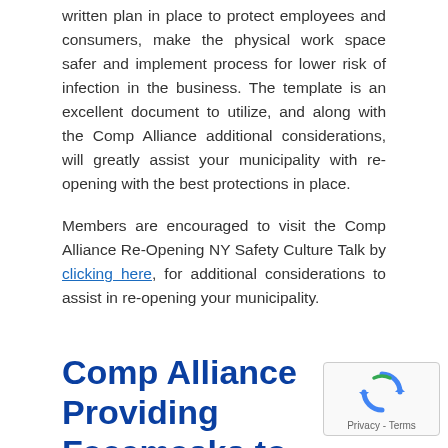written plan in place to protect employees and consumers, make the physical work space safer and implement process for lower risk of infection in the business. The template is an excellent document to utilize, and along with the Comp Alliance additional considerations, will greatly assist your municipality with re-opening with the best protections in place.
Members are encouraged to visit the Comp Alliance Re-Opening NY Safety Culture Talk by clicking here, for additional considerations to assist in re-opening your municipality.
Comp Alliance Providing Facemasks to Program Members
[Figure (other): reCAPTCHA widget with circular arrow logo and Privacy - Terms text]